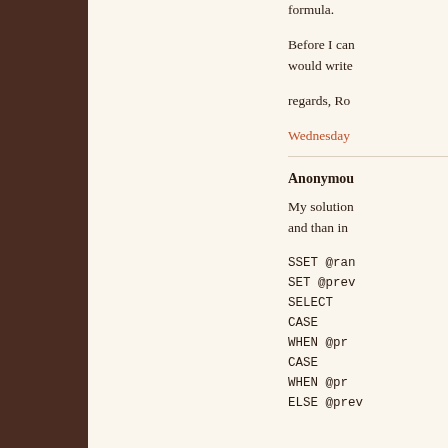formula.
Before I can would write
regards, Ro
Wednesday
Anonymous
My solution and than in
SSET @ran
SET @prev
SELECT
CASE
WHEN @pr
CASE
WHEN @pr
ELSE @prev